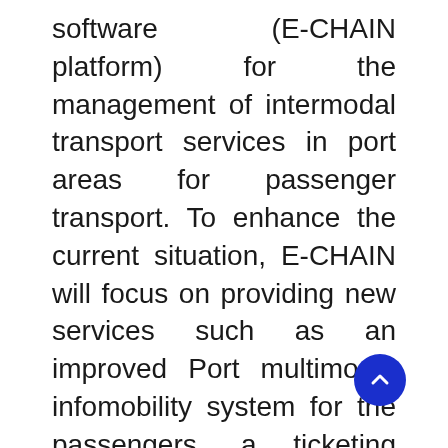software (E-CHAIN platform) for the management of intermodal transport services in port areas for passenger transport. To enhance the current situation, E-CHAIN will focus on providing new services such as an improved Port multimodal infomobility system for the passengers, a ticketing system integrated with other transport modes, an advanced touristic co-marketing tool for the operators. These services will be designed and deployed in the selected pilot sites (Ancona, Split and Venice). A Business model suited to adapt the technology developed in the three applicative contexts will be created and specific needs will be taken